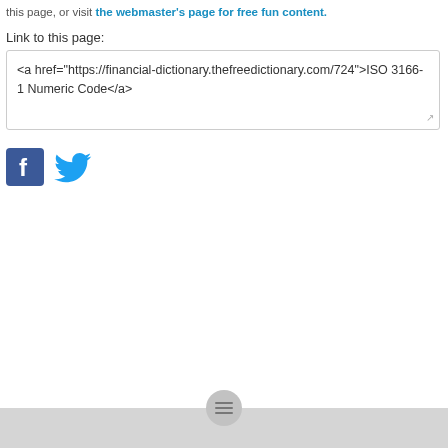this page, or visit the webmaster's page for free fun content.
Link to this page:
<a href="https://financial-dictionary.thefreedictionary.com/724">ISO 3166-1 Numeric Code</a>
[Figure (logo): Facebook logo icon (blue square with white f) and Twitter bird logo icon (blue bird)]